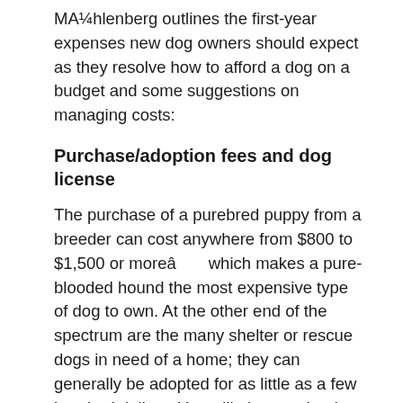Mühlenberg outlines the first-year expenses new dog owners should expect as they resolve how to afford a dog on a budget and some suggestions on managing costs:
Purchase/adoption fees and dog license
The purchase of a purebred puppy from a breeder can cost anywhere from $800 to $1,500 or more— which makes a pure-blooded hound the most expensive type of dog to own. At the other end of the spectrum are the many shelter or rescue dogs in need of a home; they can generally be adopted for as little as a few hundred dollars. You will also need a dog license to bring home your pup, which runs from $10 to $20 on average (and needs to be renewed annually).
Pro Tip: Once you bring your tail-wagger home